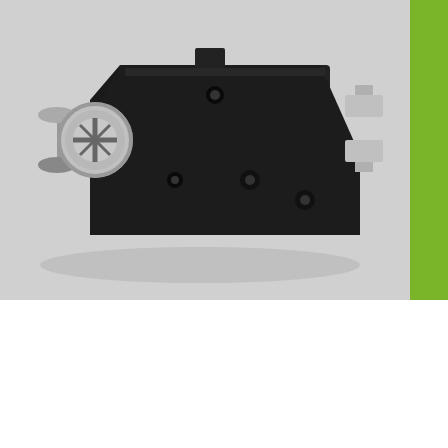[Figure (photo): Close-up photo of a black brake light switch component with a chrome screw/plunger on the left side and two metal terminal prongs on the right side, placed on a light gray surface. A green vertical bar is visible on the right edge.]
2005 SUZUKI GSX-R750
[Figure (photo): Photo of a blue and white 2005 Suzuki GSX-R750 motorcycle, showing the rear fairing, seat, and tank area, cropped at the bottom of the page.]